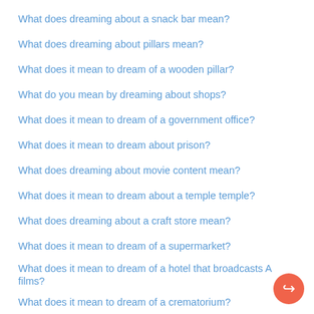What does dreaming about a snack bar mean?
What does dreaming about pillars mean?
What does it mean to dream of a wooden pillar?
What do you mean by dreaming about shops?
What does it mean to dream of a government office?
What does it mean to dream about prison?
What does dreaming about movie content mean?
What does it mean to dream about a temple temple?
What does dreaming about a craft store mean?
What does it mean to dream of a supermarket?
What does it mean to dream of a hotel that broadcasts A films?
What does it mean to dream of a crematorium?